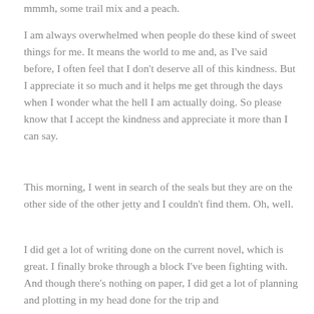mmmh, some trail mix and a peach.
I am always overwhelmed when people do these kind of sweet things for me. It means the world to me and, as I've said before, I often feel that I don't deserve all of this kindness. But I appreciate it so much and it helps me get through the days when I wonder what the hell I am actually doing. So please know that I accept the kindness and appreciate it more than I can say.
This morning, I went in search of the seals but they are on the other side of the other jetty and I couldn't find them. Oh, well.
I did get a lot of writing done on the current novel, which is great. I finally broke through a block I've been fighting with. And though there's nothing on paper, I did get a lot of planning and plotting in my head done for the trip and